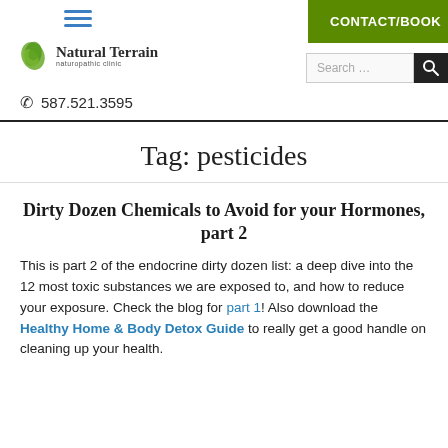[Figure (logo): Natural Terrain Naturopathic Clinic logo with green leaf icon]
CONTACT/BOOK
Search ... [search button]
587.521.3595
Tag: pesticides
Dirty Dozen Chemicals to Avoid for your Hormones, part 2
This is part 2 of the endocrine dirty dozen list: a deep dive into the 12 most toxic substances we are exposed to, and how to reduce your exposure. Check the blog for part 1! Also download the Healthy Home & Body Detox Guide to really get a good handle on cleaning up your health.